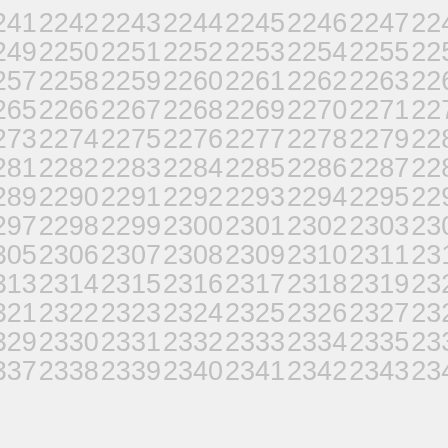2241 2242 2243 2244 2245 2246 2247 2248 2249 2250 2251 2252 2253 2254 2255 2256 2257 2258 2259 2260 2261 2262 2263 2264 2265 2266 2267 2268 2269 2270 2271 2272 2273 2274 2275 2276 2277 2278 2279 2280 2281 2282 2283 2284 2285 2286 2287 2288 2289 2290 2291 2292 2293 2294 2295 2296 2297 2298 2299 2300 2301 2302 2303 2304 2305 2306 2307 2308 2309 2310 2311 2312 2313 2314 2315 2316 2317 2318 2319 2320 2321 2322 2323 2324 2325 2326 2327 2328 2329 2330 2331 2332 2333 2334 2335 2336 2337 2338 2339 2340 2341 2342 2343 2344